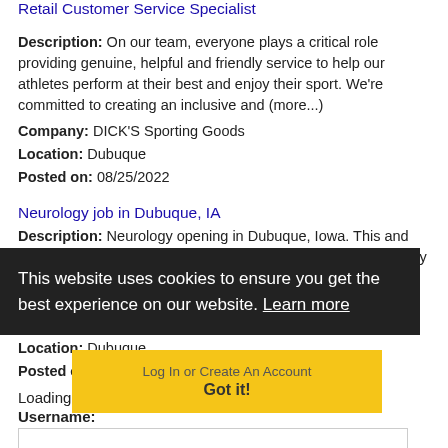Retail Customer Service Specialist
Description: On our team, everyone plays a critical role providing genuine, helpful and friendly service to help our athletes perform at their best and enjoy their sport. We're committed to creating an inclusive and (more...)
Company: DICK'S Sporting Goods
Location: Dubuque
Posted on: 08/25/2022
Neurology job in Dubuque, IA
Description: Neurology opening in Dubuque, Iowa. This and other physician jobs brought to you by DocCafe br br Neurology opening in Iowa br br Located in Dubuque, IA - just 80 miles from Bettendorf (more...)
Company: Archway Physician Recruitment
Location: Dubuque
Posted on:
Loading more jobs. Learn more .
This website uses cookies to ensure you get the best experience on our website. Learn more
Log In or Create An Account
Got it!
Username: